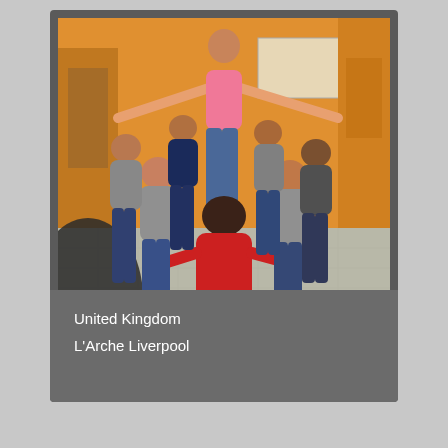[Figure (photo): Group of people in a room with orange walls. One person wearing a pink t-shirt stands elevated with arms spread wide, while several people in grey and red shirts form a circle or huddle around below, in what appears to be a team-building or dance activity in a community or classroom setting.]
United Kingdom
L'Arche Liverpool